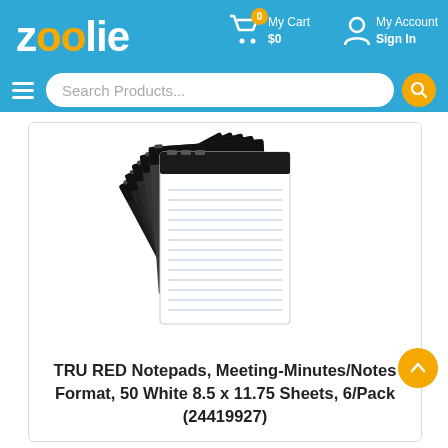zoolie — My Cart $0 | My Account Sign In
Search Products...
[Figure (photo): Stack of TRU RED notepads with black covers, fanned out showing white lined pages]
TRU RED Notepads, Meeting-Minutes/Notes Format, 50 White 8.5 x 11.75 Sheets, 6/Pack (24419927)